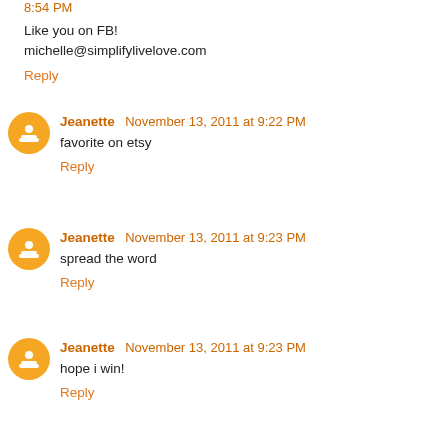8:54 PM
Like you on FB!
michelle@simplifylivelove.com
Reply
Jeanette  November 13, 2011 at 9:22 PM
favorite on etsy
Reply
Jeanette  November 13, 2011 at 9:23 PM
spread the word
Reply
Jeanette  November 13, 2011 at 9:23 PM
hope i win!
Reply